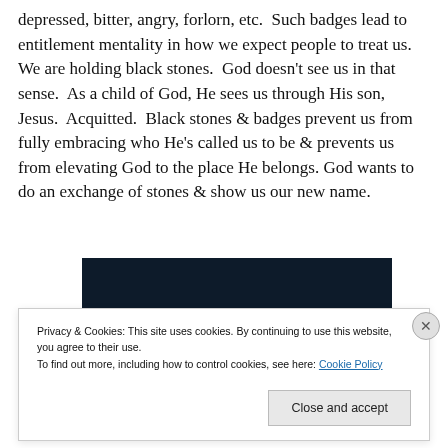depressed, bitter, angry, forlorn, etc.  Such badges lead to entitlement mentality in how we expect people to treat us.  We are holding black stones.  God doesn't see us in that sense.  As a child of God, He sees us through His son, Jesus.  Acquitted.  Black stones & badges prevent us from fully embracing who He's called us to be & prevents us from elevating God to the place He belongs. God wants to do an exchange of stones & show us our new name.
[Figure (photo): Dark navy background image with a pink/rose horizontal bar element in the lower left and a light gray circle in the lower right, partially visible.]
Privacy & Cookies: This site uses cookies. By continuing to use this website, you agree to their use.
To find out more, including how to control cookies, see here: Cookie Policy
Close and accept